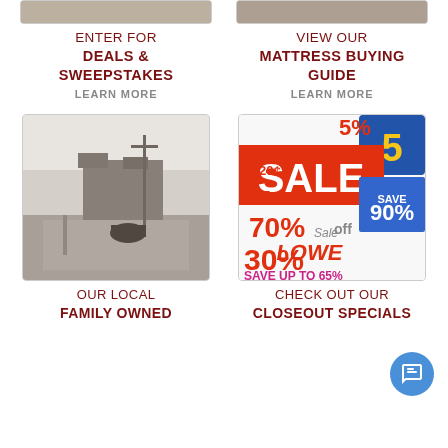[Figure (photo): Cropped top portion of a photo visible at the top of the left column]
[Figure (photo): Cropped top portion of a photo visible at the top of the right column]
ENTER FOR DEALS & SWEEPSTAKES LEARN MORE
VIEW OUR MATTRESS BUYING GUIDE LEARN MORE
[Figure (photo): Black and white historical photo of a street scene with houses and a horse-drawn carriage]
[Figure (photo): Colorful collage of sale tags and discount signs including SALE, 70% off, LOWE, SAVE UP TO 65%, 30%, 20%, 5%, 90%]
OUR LOCAL FAMILY OWNED
CHECK OUT OUR CLOSEOUT SPECIALS